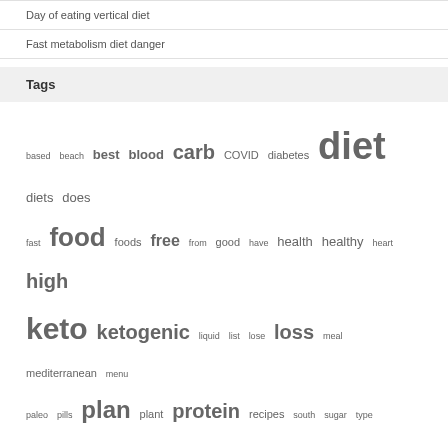Day of eating vertical diet
Fast metabolism diet danger
Tags
based beach best blood carb COVID diabetes diet diets does fast food foods free from good have health healthy heart high keto ketogenic liquid list lose loss meal mediterranean menu paleo pills plan plant protein recipes south sugar type vegan week weight what with work
Copyright 2020
Iconic One Theme | Powered by Wordpress